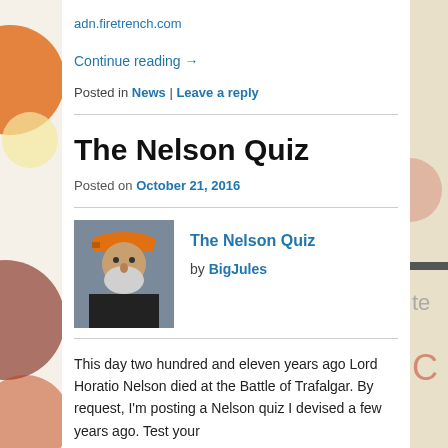adn.firetrench.com
Continue reading →
Posted in News | Leave a reply
The Nelson Quiz
Posted on October 21, 2016
[Figure (photo): Portrait photo of a person wearing an orange cap and dark jacket, outdoors]
The Nelson Quiz by BigJules
This day two hundred and eleven years ago Lord Horatio Nelson died at the Battle of Trafalgar. By request, I'm posting a Nelson quiz I devised a few years ago. Test your